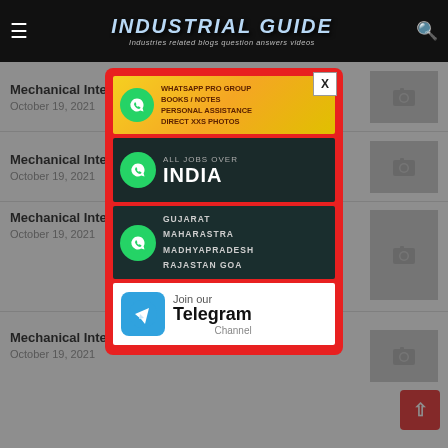INDUSTRIAL GUIDE — Industries related blogs question answers videos
Mechanical Interv…
October 19, 2021
Mechanical Interv…
October 19, 2021
Mechanical Interv…
October 19, 2021
[Figure (screenshot): Modal popup with red background containing four ad blocks: 1) WhatsApp Pro Group / Books / Notes / Personal Assistance / Direct XXX Photos (gold background), 2) All Jobs Over INDIA (dark background with WhatsApp icon), 3) Gujarat Maharashtra Madhyapradesh Rajasthan Goa (dark background with WhatsApp icon), 4) Join our Telegram Channel (white background with Telegram icon). Close X button in top-right corner.]
Mechanical Interview Questions 2
October 19, 2021